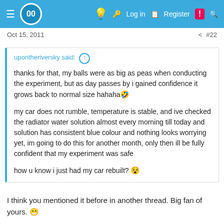00 | Log in | Register | #22
Oct 15, 2011   < #22
upontheriversky said: ↑

thanks for that, my balls were as big as peas when conducting the experiment, but as day passes by i gained confidence it grows back to normal size hahaha

my car does not rumble, temperature is stable, and ive checked the radiator water solution almost every morning till today and solution has consistent blue colour and nothing looks worrying yet, im going to do this for another month, only then ill be fully confident that my experiment was safe

how u know i just had my car rebuilt?
I think you mentioned it before in another thread. Big fan of yours.